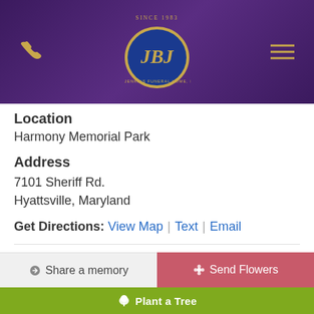[Figure (logo): J.B. Jenkins Funeral Home Inc. logo — gold JBJ monogram on dark blue oval, purple textured banner header with gold phone icon left and gold hamburger menu right]
Location
Harmony Memorial Park
Address
7101 Sheriff Rd.
Hyattsville, Maryland
Get Directions: View Map | Text | Email
Photo Album
[Figure (photo): Partial thumbnail photo of a person]
Share a memory
Send Flowers
Plant a Tree